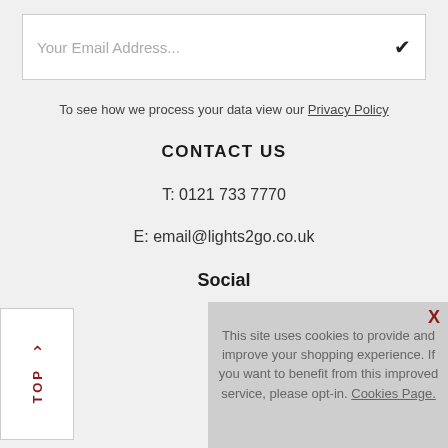Your Email Address...
To see how we process your data view our Privacy Policy
CONTACT US
T: 0121 733 7770
E: email@lights2go.co.uk
Social
TOP
This site uses cookies to provide and improve your shopping experience. If you want to benefit from this improved service, please opt-in. Cookies Page.
I opt-in to a better browsing experience
ACCEPT COOKIES